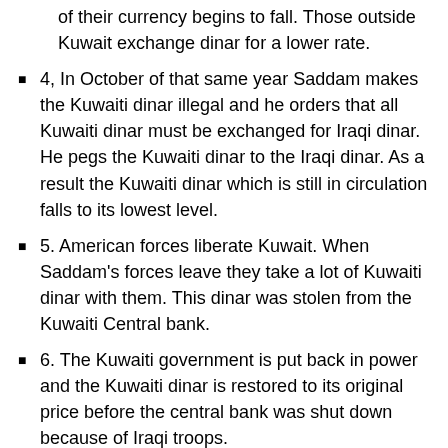of their currency begins to fall. Those outside Kuwait exchange dinar for a lower rate.
4, In October of that same year Saddam makes the Kuwaiti dinar illegal and he orders that all Kuwaiti dinar must be exchanged for Iraqi dinar. He pegs the Kuwaiti dinar to the Iraqi dinar. As a result the Kuwaiti dinar which is still in circulation falls to its lowest level.
5. American forces liberate Kuwait. When Saddam's forces leave they take a lot of Kuwaiti dinar with them. This dinar was stolen from the Kuwaiti Central bank.
6. The Kuwaiti government is put back in power and the Kuwaiti dinar is restored to its original price before the central bank was shut down because of Iraqi troops.
7. There was a redenomination for the sole purpose of invalidating the entire dinar supply that was stolen from